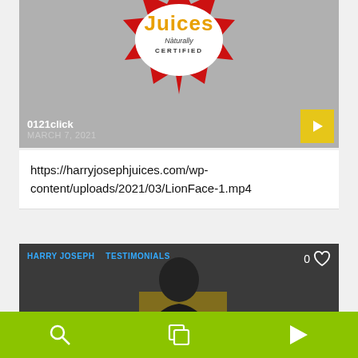[Figure (screenshot): Video thumbnail showing Harry Joseph Juices logo with red starburst, username 0121click and date March 7 2021, with yellow play button]
https://harryjosephjuices.com/wp-content/uploads/2021/03/LionFace-1.mp4
[Figure (screenshot): Video thumbnail showing Harry Joseph Birmingham with person in striped shirt, tags HARRY JOSEPH and TESTIMONIALS, like count 0]
[Figure (screenshot): Bottom navigation bar with green background showing search, gallery, and play icons]